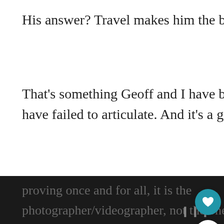His answer? Travel makes him the best version of himself.
That's something Geoff and I have both felt for a long time, but have failed to articulate. And it's a good start.
In our minds, however, there are far more reasons to travel beyond self-improvement.
This beautiful, 13-minute film by National Geographic (and shot entirely on an iPhone 6, proving once and for all, it is the photographer/videographer, not the one that